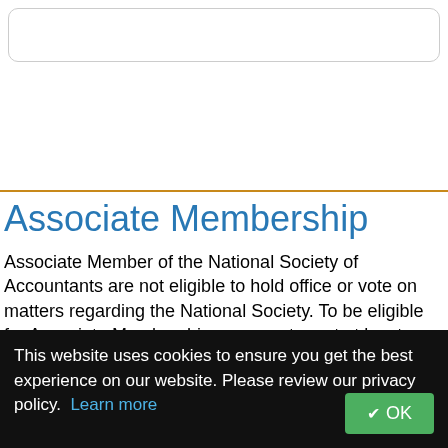Associate Membership
Associate Member of the National Society of Accountants are not eligible to hold office or vote on matters regarding the National Society. To be eligible for Associate Membership, you must meet at least one of the following requirements:
Are involved with tax preparing and accountancy work in a country other than the United States of America;
This website uses cookies to ensure you get the best experience on our website. Please review our privacy policy. Learn more